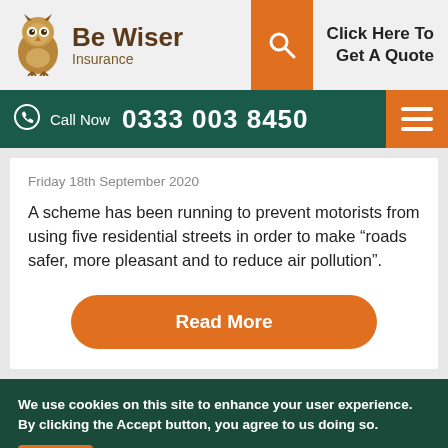[Figure (logo): Be Wiser Insurance logo with owl graphic]
Click Here To Get A Quote
Call Now  0333 003 8450
Friday 18th September 2020
A scheme has been running to prevent motorists from using five residential streets in order to make “roads safer, more pleasant and to reduce air pollution”.
Read More
We use cookies on this site to enhance your user experience. By clicking the Accept button, you agree to us doing so.
Accept   More Info   No Thanks